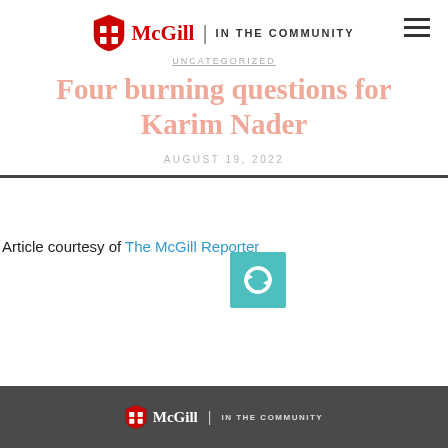McGill | IN THE COMMUNITY
UNCATEGORIZED
Four burning questions for Karim Nader
AUGUST 19, 2022
Article courtesy of The McGill Reporter
McGill | IN THE COMMUNITY